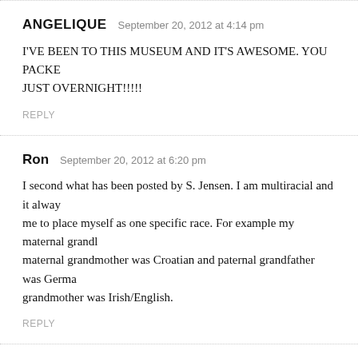ANGELIQUE  September 20, 2012 at 4:14 pm
I'VE BEEN TO THIS MUSEUM AND IT'S AWESOME. YOU PACKE JUST OVERNIGHT!!!!!
REPLY
Ron  September 20, 2012 at 6:20 pm
I second what has been posted by S. Jensen. I am multiracial and it always me to place myself as one specific race. For example my maternal grandi maternal grandmother was Croatian and paternal grandfather was Germa grandmother was Irish/English.
REPLY
Leave a Comment